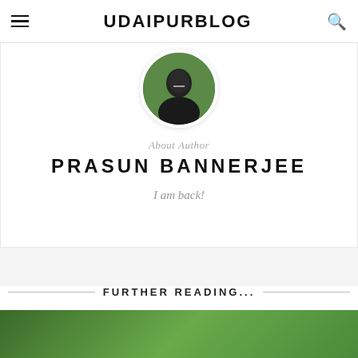UDAIPURBLOG
[Figure (photo): Circular profile photo of author Prasun Bannerjee against green background]
About Author
PRASUN BANNERJEE
I am back!
FURTHER READING...
[Figure (photo): Green foliage photo strip at bottom of page]